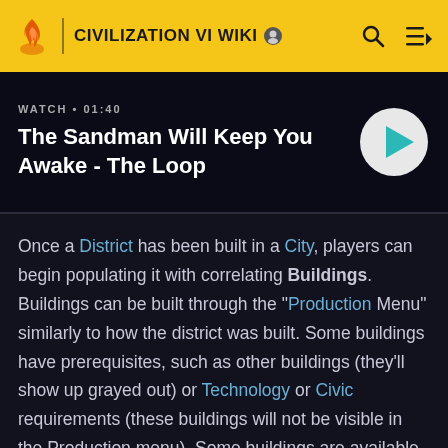CIVILIZATION VI WIKI
[Figure (screenshot): Video promo banner with play button: WATCH • 01:40 / The Sandman Will Keep You Awake - The Loop]
Once a District has been built in a City, players can begin populating it with correlating Buildings. Buildings can be built through the "Production Menu" similarly to how the district was built. Some buildings have prerequisites, such as other buildings (they'll show up grayed out) or Technology or Civic requirements (these buildings will not be visible in the Production menu). Some buildings are available to build before any districts are placed, such as the Monument. These buildings reside in the City Center.